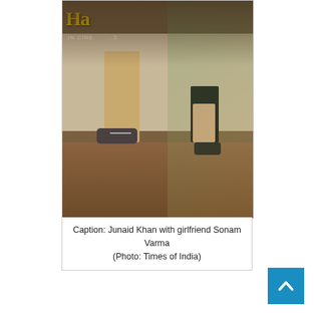[Figure (photo): Photo of Junaid Khan and girlfriend Sonam Varma standing together in front of a movie poster backdrop. Junaid is wearing khaki pants and grey sneakers. Sonam is wearing a black dress and strappy sandals. The poster in the background reads 'IN CINE...' suggesting a cinema event.]
Caption: Junaid Khan with girlfriend Sonam Varma (Photo: Times of India)